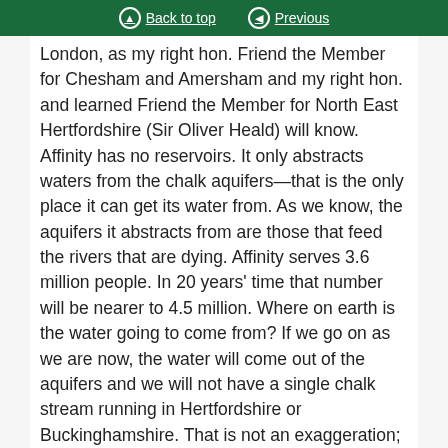Back to top   Previous
London, as my right hon. Friend the Member for Chesham and Amersham and my right hon. and learned Friend the Member for North East Hertfordshire (Sir Oliver Heald) will know. Affinity has no reservoirs. It only abstracts waters from the chalk aquifers—that is the only place it can get its water from. As we know, the aquifers it abstracts from are those that feed the rivers that are dying. Affinity serves 3.6 million people. In 20 years' time that number will be nearer to 4.5 million. Where on earth is the water going to come from? If we go on as we are now, the water will come out of the aquifers and we will not have a single chalk stream running in Hertfordshire or Buckinghamshire. That is not an exaggeration; that is where we are at.